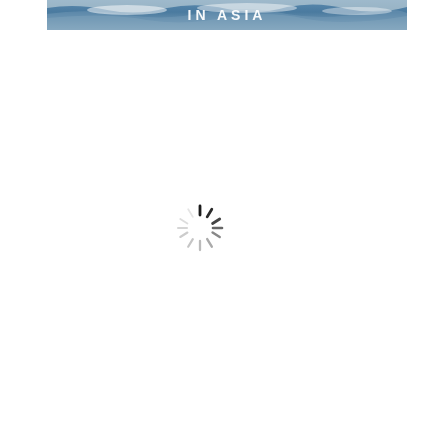[Figure (photo): Ocean waves photograph with white text 'IN ASIA' overlaid at the top, partially cropped at the upper portion of the page]
[Figure (other): Loading spinner icon (circular dashed spinner) centered in the lower white portion of the page]